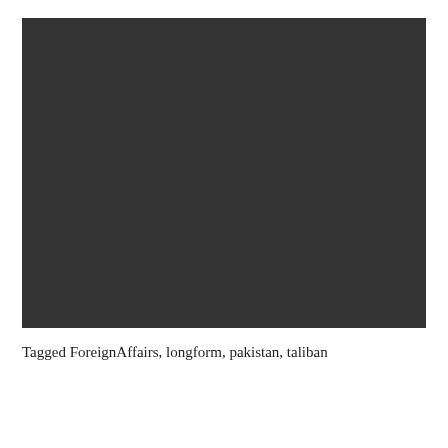[Figure (photo): Dark/near-black rectangular image area, contents not discernible]
Tagged ForeignAffairs, longform, pakistan, taliban